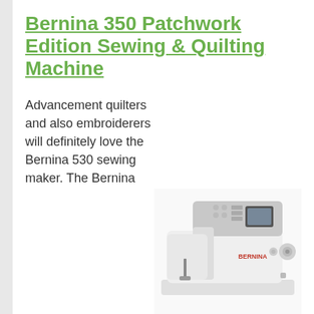Bernina 350 Patchwork Edition Sewing & Quilting Machine
[Figure (photo): White Bernina sewing machine (model 530) with gray top and digital display panel, shown at an angle on a white background.]
Advancement quilters and also embroiderers will definitely love the Bernina 530 sewing maker. The Bernina name alone is high quality as well as this equipment will certainly draw out creativity. Using 148 stitches, the advanced drain can start any type of embroidery, quilting job while still having the performance of all fundamental